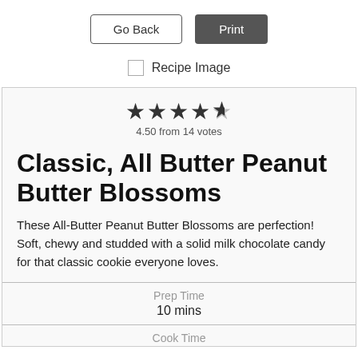[Figure (screenshot): Two buttons: 'Go Back' (outlined) and 'Print' (dark filled)]
Recipe Image (with checkbox)
[Figure (other): Star rating: 4.50 stars out of 5, 4.50 from 14 votes]
Classic, All Butter Peanut Butter Blossoms
These All-Butter Peanut Butter Blossoms are perfection! Soft, chewy and studded with a solid milk chocolate candy for that classic cookie everyone loves.
Prep Time
10 mins
Cook Time